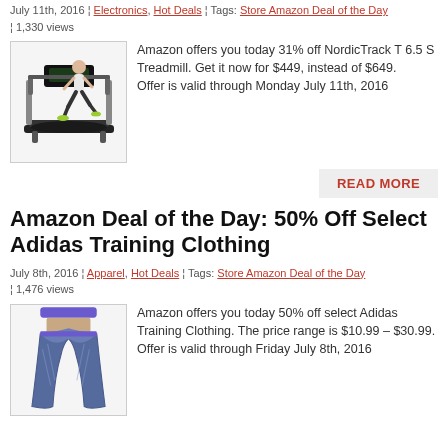July 11th, 2016 ¦ Electronics, Hot Deals ¦ Tags: Store Amazon Deal of the Day ¦ 1,330 views
[Figure (photo): Woman running on a NordicTrack treadmill, product photo on white background]
Amazon offers you today 31% off NordicTrack T 6.5 S Treadmill. Get it now for $449, instead of $649. Offer is valid through Monday July 11th, 2016
READ MORE
Amazon Deal of the Day: 50% Off Select Adidas Training Clothing
July 8th, 2016 ¦ Apparel, Hot Deals ¦ Tags: Store Amazon Deal of the Day ¦ 1,476 views
[Figure (photo): Woman wearing blue Adidas training leggings, product photo]
Amazon offers you today 50% off select Adidas Training Clothing. The price range is $10.99 – $30.99. Offer is valid through Friday July 8th, 2016